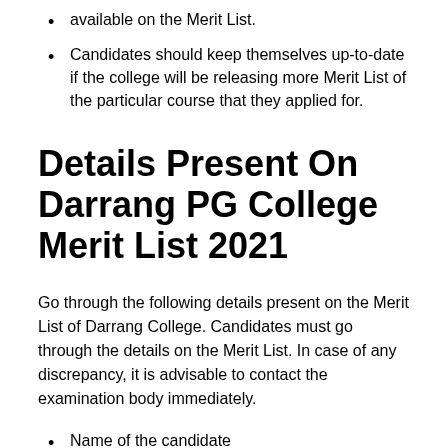available on the Merit List.
Candidates should keep themselves up-to-date if the college will be releasing more Merit List of the particular course that they applied for.
Details Present On Darrang PG College Merit List 2021
Go through the following details present on the Merit List of Darrang College. Candidates must go through the details on the Merit List. In case of any discrepancy, it is advisable to contact the examination body immediately.
Name of the candidate
Category
Merit Points
Status
Gender